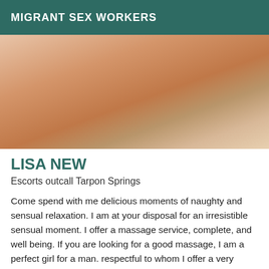MIGRANT SEX WORKERS
[Figure (photo): Close-up photo of a person's body, partially clothed, with high-heeled sandals visible in lower left corner and hand visible at right side.]
LISA NEW
Escorts outcall Tarpon Springs
Come spend with me delicious moments of naughty and sensual relaxation. I am at your disposal for an irresistible sensual moment. I offer a massage service, complete, and well being. If you are looking for a good massage, I am a perfect girl for a man. respectful to whom I offer a very exclusive service. My massages are unforgettable and my truly exceptional company Let